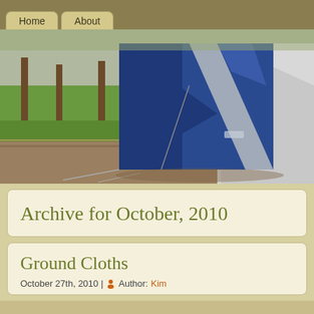Home | About
[Figure (photo): Outdoor camping scene showing a blue and grey dome tent in the foreground with green grassy area and trees in the background]
Archive for October, 2010
Ground Cloths
October 27th, 2010 | Author: Kim